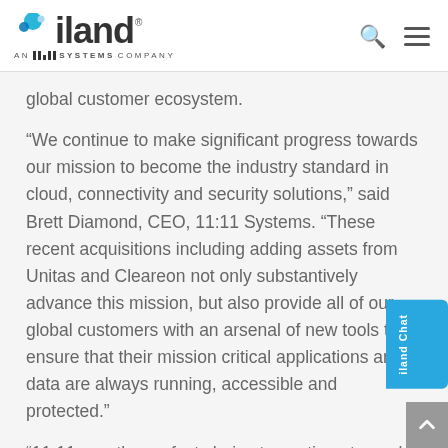iland — AN 11:11 SYSTEMS COMPANY
global customer ecosystem.
“We continue to make significant progress towards our mission to become the industry standard in cloud, connectivity and security solutions,” said Brett Diamond, CEO, 11:11 Systems. “These recent acquisitions including adding assets from Unitas and Cleareon not only substantively advance this mission, but also provide all of our global customers with an arsenal of new tools to ensure that their mission critical applications and data are always running, accessible and protected.”
“11:11 was the perfect choice to continue to enable and strengthen the digital journey for our valued managed